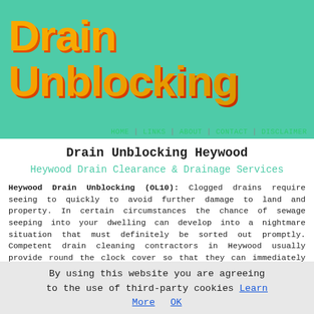Drain Unblocking
HOME | LINKS | ABOUT | CONTACT | DISCLAIMER
Drain Unblocking Heywood
Heywood Drain Clearance & Drainage Services
Heywood Drain Unblocking (OL10): Clogged drains require seeing to quickly to avoid further damage to land and property. In certain circumstances the chance of sewage seeping into your dwelling can develop into a nightmare situation that must definitely be sorted out promptly. Competent drain cleaning contractors in Heywood usually provide round the clock cover so that they can immediately restore your drains to proper working order employing an assortment of techniques to unblock and clear your drainage system.
By using this website you are agreeing to the use of third-party cookies Learn More  OK